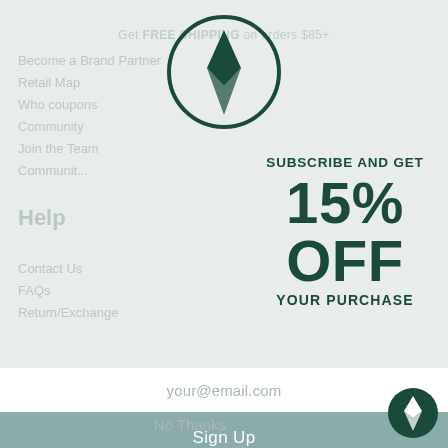[Figure (logo): Circular logo icon with diamond/compass shape inside, dark green outline, top center of page]
Get FREE SHIPPING on orders $85+
Become a Brand Partner
Retail Map
Who coupons
Community
Join the Team
Community of...
SUBSCRIBE AND GET
15% OFF
YOUR PURCHASE
Help
Contact Us
FAQs
Return/Exchange
your@email.com
Sign Up
No Thanks
[Figure (logo): Small circular logo icon with diamond/compass shape inside, dark green, bottom right corner]